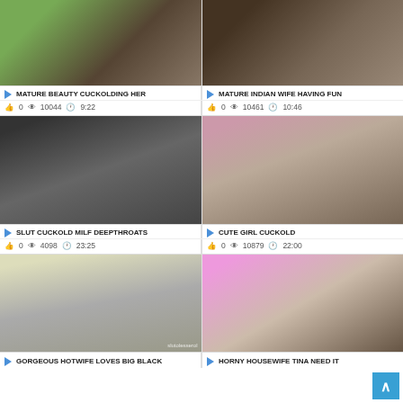[Figure (photo): Video thumbnail - mature content]
▶ MATURE BEAUTY CUCKOLDING HER
0  10044  9:22
[Figure (photo): Video thumbnail - mature content]
▶ MATURE INDIAN WIFE HAVING FUN
0  10461  10:46
[Figure (photo): Video thumbnail - mature content]
▶ SLUT CUCKOLD MILF DEEPTHROATS
0  4098  23:25
[Figure (photo): Video thumbnail - mature content]
▶ CUTE GIRL CUCKOLD
0  10879  22:00
[Figure (photo): Video thumbnail - mature content]
▶ GORGEOUS HOTWIFE LOVES BIG BLACK
[Figure (photo): Video thumbnail - mature content]
▶ HORNY HOUSEWIFE TINA NEED IT